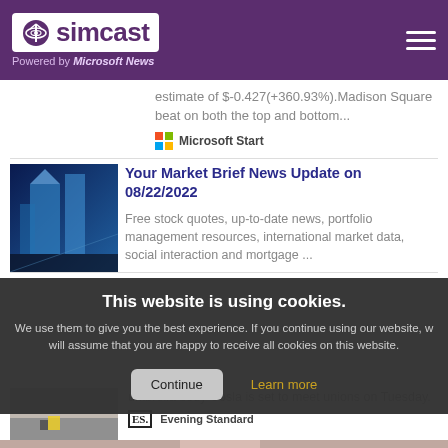simcast — Powered by Microsoft News
estimate of $-0.427(+360.93%).Madison Square beat on both the top and bottom...
Microsoft Start
Your Market Brief News Update on 08/22/2022
Free stock quotes, up-to-date news, portfolio management resources, international market data, social interaction and mortgage ...
[Figure (photo): Blue-tinted architectural/building photo used as article thumbnail]
This website is using cookies.
We use them to give you the best experience. If you continue using our website, we will assume that you are happy to receive all cookies on this website.
Continue   Learn more
umbrella body Cosla is set to meet unions on Tuesday.
Evening Standard
[Figure (photo): Partial photo at bottom of page]